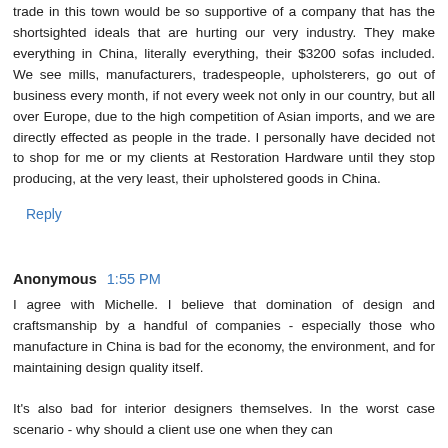trade in this town would be so supportive of a company that has the shortsighted ideals that are hurting our very industry. They make everything in China, literally everything, their $3200 sofas included. We see mills, manufacturers, tradespeople, upholsterers, go out of business every month, if not every week not only in our country, but all over Europe, due to the high competition of Asian imports, and we are directly effected as people in the trade. I personally have decided not to shop for me or my clients at Restoration Hardware until they stop producing, at the very least, their upholstered goods in China.
Reply
Anonymous 1:55 PM
I agree with Michelle. I believe that domination of design and craftsmanship by a handful of companies - especially those who manufacture in China is bad for the economy, the environment, and for maintaining design quality itself.
It's also bad for interior designers themselves. In the worst case scenario - why should a client use one when they can